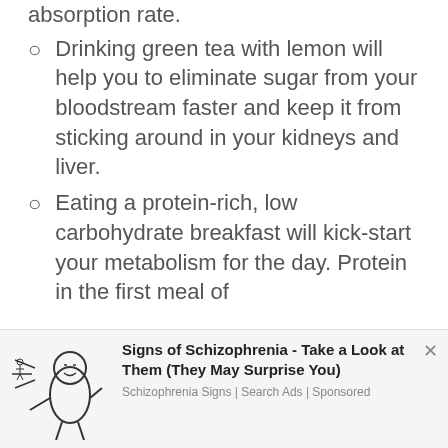absorption rate.
Drinking green tea with lemon will help you to eliminate sugar from your bloodstream faster and keep it from sticking around in your kidneys and liver.
Eating a protein-rich, low carbohydrate breakfast will kick-start your metabolism for the day. Protein in the first meal of
[Figure (illustration): Cartoon illustration of a person sneezing or coughing, used in an advertisement banner]
Signs of Schizophrenia - Take a Look at Them (They May Surprise You)
Schizophrenia Signs | Search Ads | Sponsored